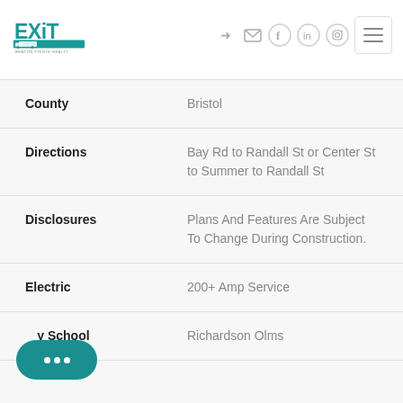[Figure (logo): EXIT Beacon Pointe Realty logo in teal]
| Field | Value |
| --- | --- |
| County | Bristol |
| Directions | Bay Rd to Randall St or Center St to Summer to Randall St |
| Disclosures | Plans And Features Are Subject To Change During Construction. |
| Electric | 200+ Amp Service |
| Elementary School | Richardson Olms |